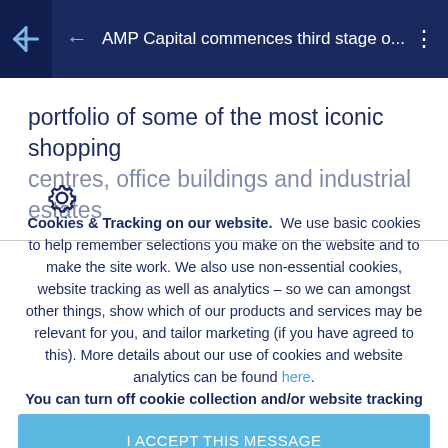AMP Capital commences third stage o...
portfolio of some of the most iconic shopping centres, office buildings and industrial estates
Cookies & Tracking on our website.  We use basic cookies to help remember selections you make on the website and to make the site work. We also use non-essential cookies, website tracking as well as analytics – so we can amongst other things, show which of our products and services may be relevant for you, and tailor marketing (if you have agreed to this). More details about our use of cookies and website analytics can be found here. You can turn off cookie collection and/or website tracking by updating your cookies & tracking preferences in your browser settings.
I ACCEPT THIS MESSAGE